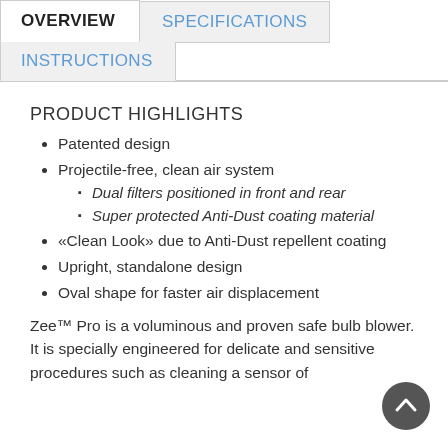OVERVIEW | SPECIFICATIONS | INSTRUCTIONS
PRODUCT HIGHLIGHTS
Patented design
Projectile-free, clean air system
Dual filters positioned in front and rear
Super protected Anti-Dust coating material
«Clean Look» due to Anti-Dust repellent coating
Upright, standalone design
Oval shape for faster air displacement
Zee™ Pro is a voluminous and proven safe bulb blower. It is specially engineered for delicate and sensitive procedures such as cleaning a sensor of